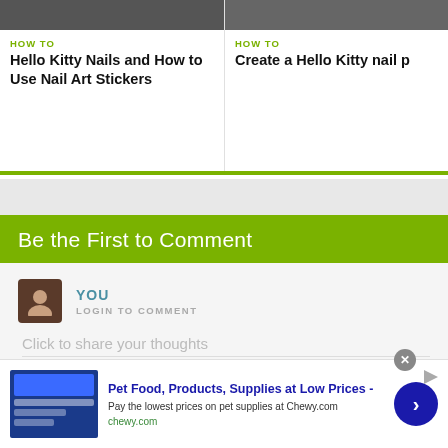[Figure (photo): Thumbnail image of Hello Kitty nail art, left card]
HOW TO
Hello Kitty Nails and How to Use Nail Art Stickers
[Figure (photo): Thumbnail image of Hello Kitty nail polish, right card (partially cropped)]
HOW TO
Create a Hello Kitty nail p
Be the First to Comment
YOU
LOGIN TO COMMENT
Click to share your thoughts
Pet Food, Products, Supplies at Low Prices -
Pay the lowest prices on pet supplies at Chewy.com
chewy.com